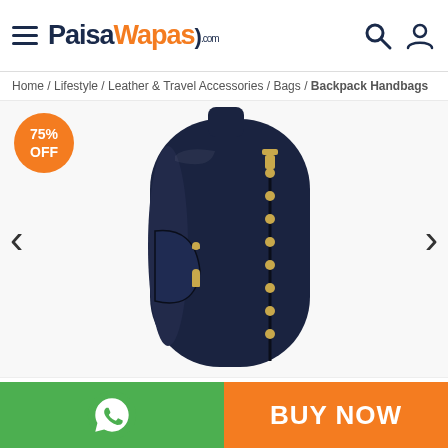PaisaWapas.com — navigation header with hamburger menu, logo, search and user icons
Home / Lifestyle / Leather & Travel Accessories / Bags / Backpack Handbags
[Figure (photo): Dark navy blue leather backpack handbag shown from the side, featuring gold zipper pulls and gold stud decorations along a vertical seam. The bag has a rounded top with a handle. A 75% OFF orange circular badge is in the top left corner. Left and right navigation chevron arrows are visible on either side of the product image.]
BUY NOW